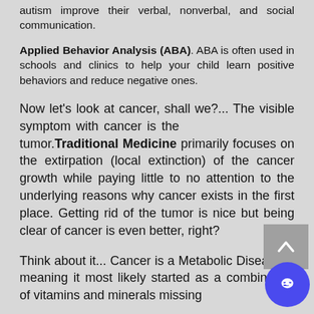autism improve their verbal, nonverbal, and social communication.
Applied Behavior Analysis (ABA). ABA is often used in schools and clinics to help your child learn positive behaviors and reduce negative ones.
Now let's look at cancer, shall we?... The visible symptom with cancer is the tumor. Traditional Medicine primarily focuses on the extirpation (local extinction) of the cancer growth while paying little to no attention to the underlying reasons why cancer exists in the first place. Getting rid of the tumor is nice but being clear of cancer is even better, right?
Think about it... Cancer is a Metabolic Disease—meaning it most likely started as a combination of vitamins and minerals missing